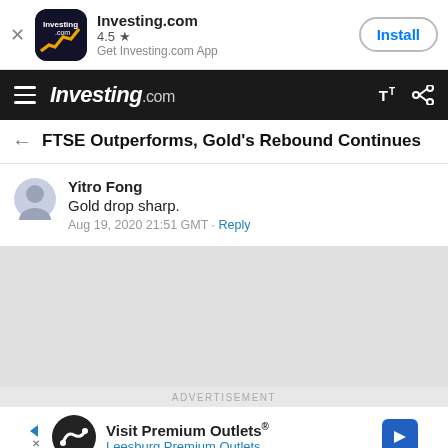[Figure (screenshot): Investing.com app install banner with logo, 4.5 star rating, and Install button]
Investing.com
FTSE Outperforms, Gold's Rebound Continues
Yitro Fong
Gold drop sharp.
Aug 19, 2020 21:51 GMT · Reply
ADVERTISEMENT
Visit Premium Outlets® Leesburg Premium Outlets